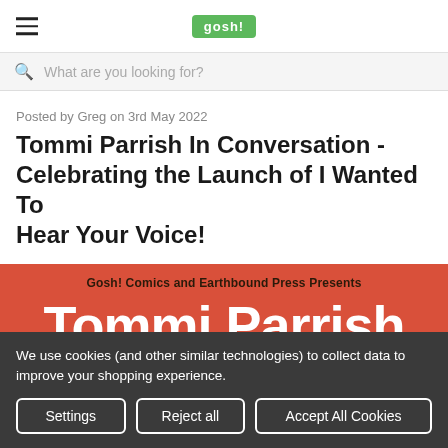gosh! [logo]
What are you looking for?
Posted by Greg on 3rd May 2022
Tommi Parrish In Conversation - Celebrating the Launch of I Wanted To Hear Your Voice!
[Figure (illustration): Red/orange event banner reading 'Gosh! Comics and Earthbound Press Presents' and large white text 'Tommi Parrish']
We use cookies (and other similar technologies) to collect data to improve your shopping experience.